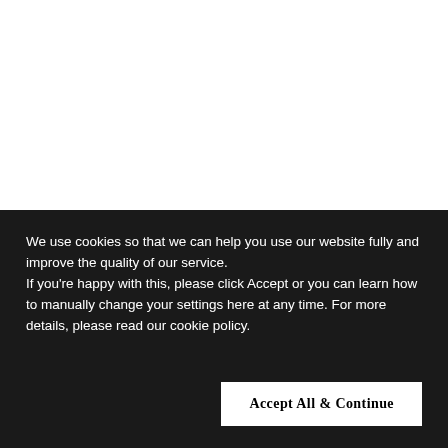We use cookies so that we can help you use our website fully and improve the quality of our service. If you're happy with this, please click Accept or you can learn how to manually change your settings here at any time. For more details, please read our cookie policy.
Accept All & Continue